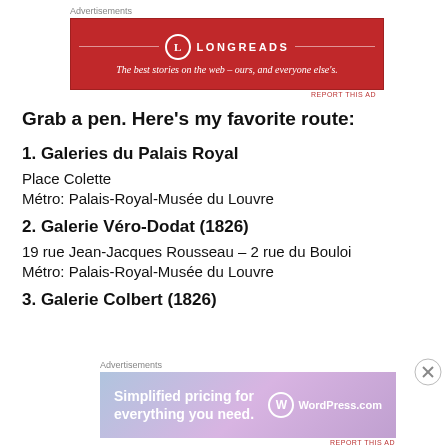[Figure (other): Longreads advertisement banner — red background with white Longreads logo and tagline: The best stories on the web – ours, and everyone else's.]
Grab a pen. Here's my favorite route:
1. Galeries du Palais Royal
Place Colette
Métro: Palais-Royal-Musée du Louvre
2. Galerie Véro-Dodat (1826)
19 rue Jean-Jacques Rousseau – 2 rue du Bouloi
Métro: Palais-Royal-Musée du Louvre
3. Galerie Colbert (1826)
[Figure (other): WordPress.com advertisement banner — gradient purple/blue background with text: Simplified pricing for everything you need. WordPress.com logo.]